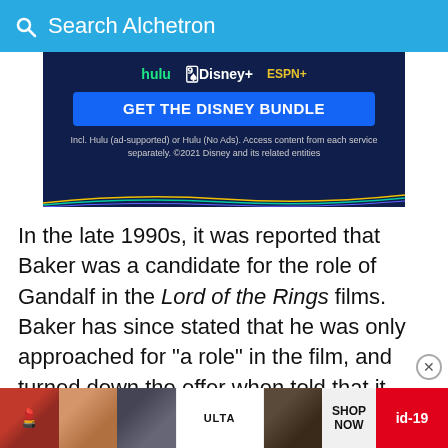Search Alchetron
[Figure (screenshot): Disney Bundle advertisement banner showing Hulu, Disney+, and ESPN+ logos with text 'GET THE DISNEY BUNDLE' and fine print about included services. ©2021 Disney and its related entities.]
In the late 1990s, it was reported that Baker was a candidate for the role of Gandalf in the Lord of the Rings films. Baker has since stated that he was only approached for "a role" in the film, and turned down the offer when told that it would mean spending months away in New Zealand. He appeared as Halvarth, the Elven healer, in Dunge
[Figure (screenshot): Ulta Beauty advertisement banner at the bottom showing makeup/beauty photos with ULTA logo and SHOP NOW button, with id-19 badge.]